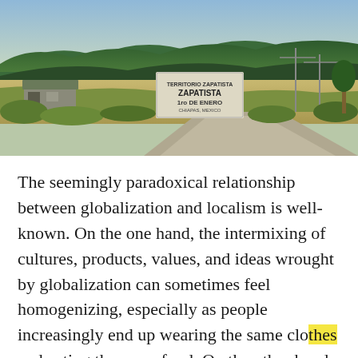[Figure (photo): Outdoor photograph of a roadside Zapatista sign reading 'ZAPATISTA 1ro DE ENERO' with green hills in the background, a building to the left, and a road in the foreground.]
The seemingly paradoxical relationship between globalization and localism is well-known. On the one hand, the intermixing of cultures, products, values, and ideas wrought by globalization can sometimes feel homogenizing, especially as people increasingly end up wearing the same clothes and eating the same food. On the other hand